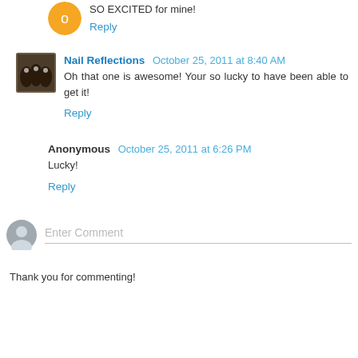SO EXCITED for mine!
Reply
Nail Reflections  October 25, 2011 at 8:40 AM
Oh that one is awesome! Your so lucky to have been able to get it!
Reply
Anonymous  October 25, 2011 at 6:26 PM
Lucky!
Reply
Enter Comment
Thank you for commenting!